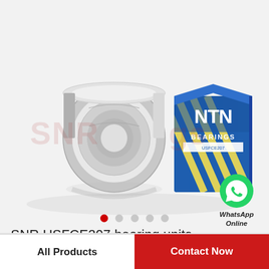[Figure (photo): NTN SNR tapered roller bearing with NTN Bearings branded blue and yellow packaging box]
[Figure (logo): WhatsApp green circle icon with phone handset]
WhatsApp Online
SNR USFCE207 bearing units
All Products
Contact Now